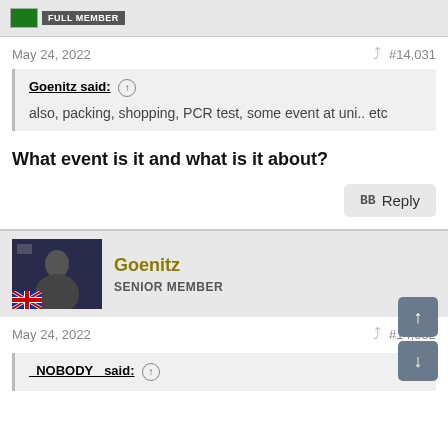FULL MEMBER
May 24, 2022   #14,031
Goenitz said: ↑
also, packing, shopping, PCR test, some event at uni.. etc
What event is it and what is it about?
Reply
Goenitz
SENIOR MEMBER
May 24, 2022   #14,032
_NOBODY_ said: ↑